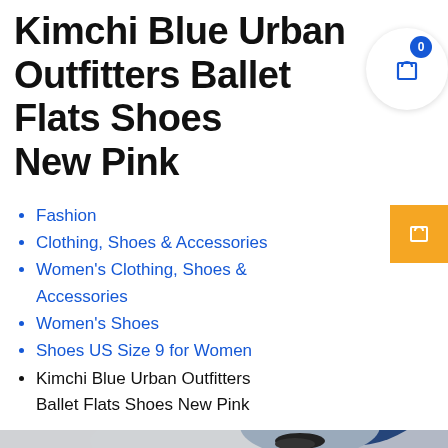Kimchi Blue Urban Outfitters Ballet Flats Shoes New Pink
Fashion
Clothing, Shoes & Accessories
Women's Clothing, Shoes & Accessories
Women's Shoes
Shoes US Size 9 for Women
Kimchi Blue Urban Outfitters Ballet Flats Shoes New Pink
[Figure (photo): Partial photo of a person wearing blue denim jeans and a light grey top, cropped to show torso/lower body area]